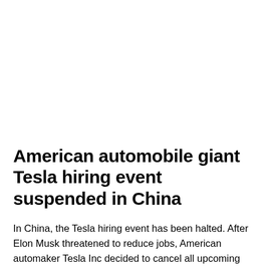American automobile giant Tesla hiring event suspended in China
In China, the Tesla hiring event has been halted. After Elon Musk threatened to reduce jobs, American automaker Tesla Inc decided to cancel all upcoming hiring events in China. Elon Musk stated in emails obtaining by Reuters. Moreover, that the